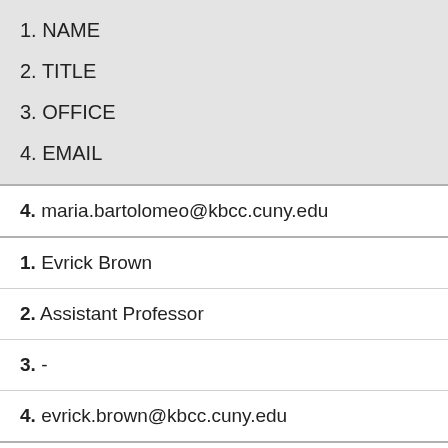1. NAME
2. TITLE
3. OFFICE
4. EMAIL
4. maria.bartolomeo@kbcc.cuny.edu
1. Evrick Brown
2. Assistant Professor
3. -
4. evrick.brown@kbcc.cuny.edu
1. Ryan Chaney
2. Assistant Professor
3. -